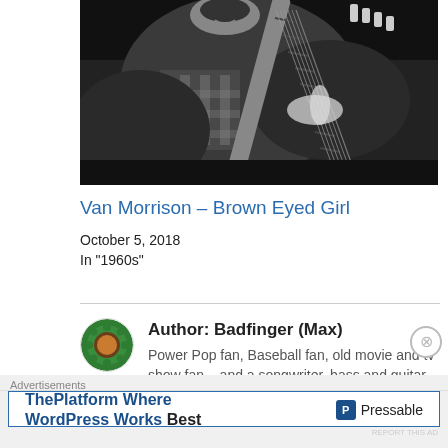[Figure (photo): Black and white photo of a man playing guitar, cropped to show torso and hands on guitar neck]
Van Morrison – Brown Eyed Girl
October 5, 2018
In "1960s"
Author: Badfinger (Max)
Power Pop fan, Baseball fan, old movie and tv show fan... and a songwriter, bass and guitar
Advertisements
[Figure (other): Advertisement: ThePlatform Where WordPress Works Best — Pressable]